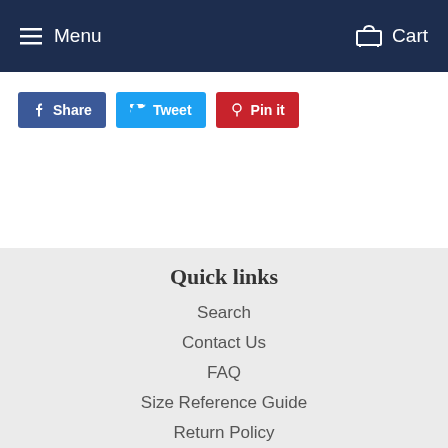Menu   Cart
Share   Tweet   Pin it
Quick links
Search
Contact Us
FAQ
Size Reference Guide
Return Policy
Vip Email List
Shipping Policies
Privacy Poli...